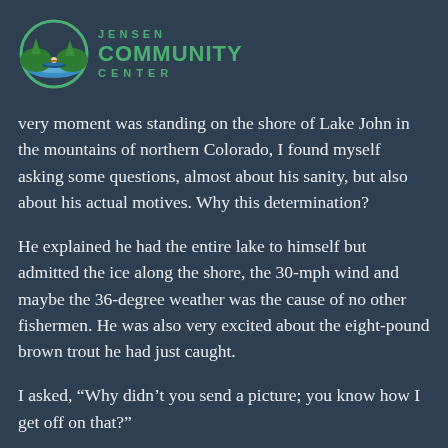[Figure (logo): Jensen Community Center logo with circular emblem showing a canoe on blue water with green trees, and text reading JENSEN COMMUNITY CENTER in green]
very moment was standing on the shore of Lake John in the mountains of northern Colorado, I found myself asking some questions, almost about his sanity, but also about his actual motives. Why this determination?
He explained he had the entire lake to himself but admitted the ice along the shore, the 30-mph wind and maybe the 36-degree weather was the cause of no other fishermen. He was also very excited about the eight-pound brown trout he had just caught.
I asked, “Why didn’t you send a picture; you know how I get off on that?”